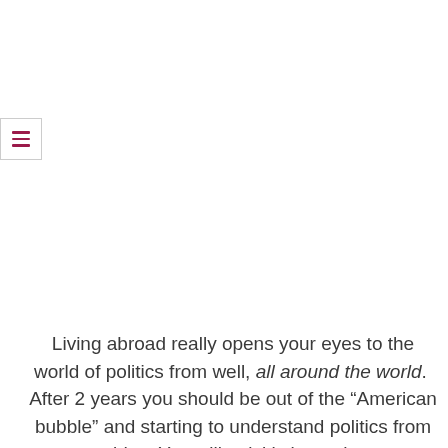[Figure (other): hamburger menu button icon with three horizontal dark red/maroon lines inside a square bordered box]
Living abroad really opens your eyes to the world of politics from well, all around the world.  After 2 years you should be out of the “American bubble” and starting to understand politics from many sides. You will quickly learn there are idiotic politicians in every country. Whether it is a clown building some magical wall in the States or a Prime Minster, in Australia who enjoys eating onions with